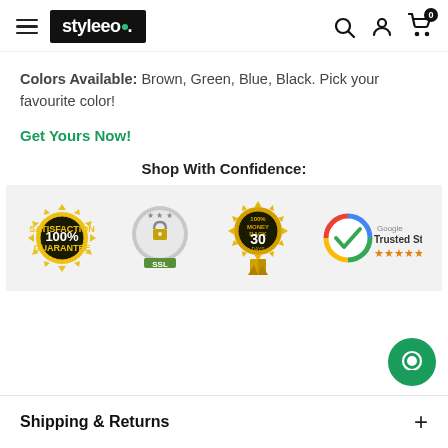styleeo. — navigation header with hamburger menu, search, account, and cart icons
Colors Available: Brown, Green, Blue, Black. Pick your favourite color!
Get Yours Now!
Shop With Confidence:
[Figure (infographic): Trust badge bar showing: 100% Satisfaction Guarantee badge (gold), SSL Secure badge (silver), 100% Money Back 30 Days Guarantee badge (gold), Google Trusted Store with 5 stars]
Shipping & Returns